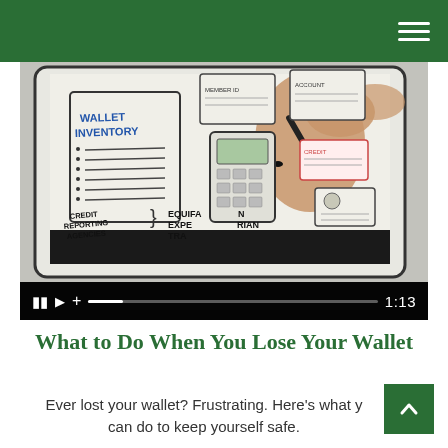[Figure (screenshot): Green header bar with hamburger menu icon on the right]
[Figure (screenshot): Video player showing a whiteboard animation about wallet inventory and credit reporting agencies — Equifax, Experian, TransUnion. A hand holds a marker drawing on a tablet. Video controls show pause, play, add icons, a progress bar, and a timestamp of 1:13.]
What to Do When You Lose Your Wallet
Ever lost your wallet? Frustrating. Here's what you can do to keep yourself safe.